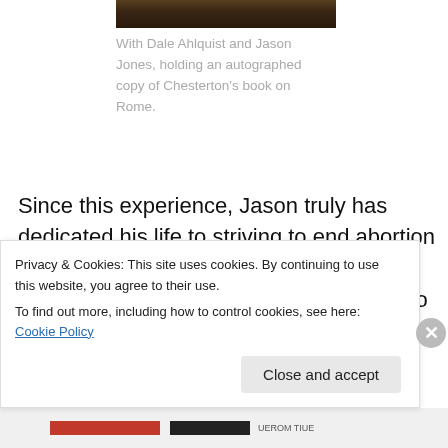[Figure (photo): Partial photo of people, cropped at top of page]
With Dale Ahlquist and Jason Jones, holding an autographed copy of Chesterton's book on Rome.
Since this experience, Jason truly has dedicated his life to striving to end abortion and to help create a culture of life and build a civilization of love. He converted to the Catholic faith and now has six children. He is producing more life-affirming films, directing the organization I Am
Privacy & Cookies: This site uses cookies. By continuing to use this website, you agree to their use.
To find out more, including how to control cookies, see here: Cookie Policy
Close and accept